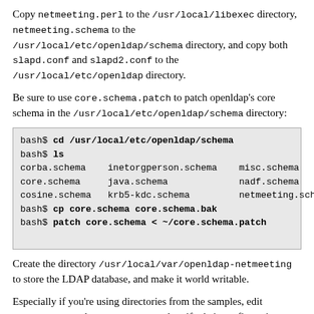Copy netmeeting.perl to the /usr/local/libexec directory, netmeeting.schema to the /usr/local/etc/openldap/schema directory, and copy both slapd.conf and slapd2.conf to the /usr/local/etc/openldap directory.
Be sure to use core.schema.patch to patch openldap's core schema in the /usr/local/etc/openldap/schema directory:
[Figure (screenshot): Terminal code block showing bash commands: cd /usr/local/etc/openldap/schema, ls listing schema files, cp core.schema core.schema.bak, patch core.schema < ~/core.schema.patch]
Create the directory /usr/local/var/openldap-netmeeting to store the LDAP database, and make it world writable.
Especially if you're using directories from the samples, edit slapd.conf and slapd2.conf and verify their configuration settings.
You will need to run two copies of slapd. One uses slapd.conf